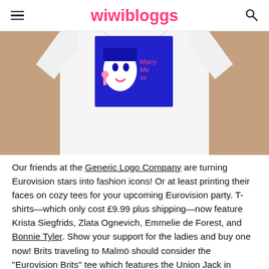wiwibloggs
[Figure (photo): Person wearing a white t-shirt with a pop-art style print of a woman's face and the text 'Marry Me xx' in pink, on a blue background graphic.]
Our friends at the Generic Logo Company are turning Eurovision stars into fashion icons! Or at least printing their faces on cozy tees for your upcoming Eurovision party. T-shirts—which only cost £9.99 plus shipping—now feature Krista Siegfrids, Zlata Ognevich, Emmelie de Forest, and Bonnie Tyler. Show your support for the ladies and buy one now! Brits traveling to Malmö should consider the "Eurovision Brits" tee which features the Union Jack in Swedish colours. Oo la la. There are also designs that